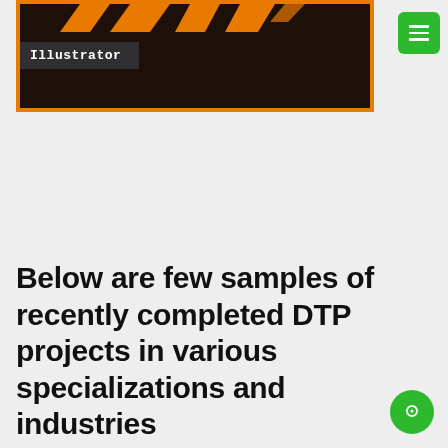[Figure (screenshot): Partial screenshot of an Adobe Illustrator application window with dark brown/black background, orange border, orange chevron shapes at top, and a dark overlay label reading 'Illustrator'. A green hamburger menu button appears to the right.]
Below are few samples of recently completed DTP projects in various specializations and industries